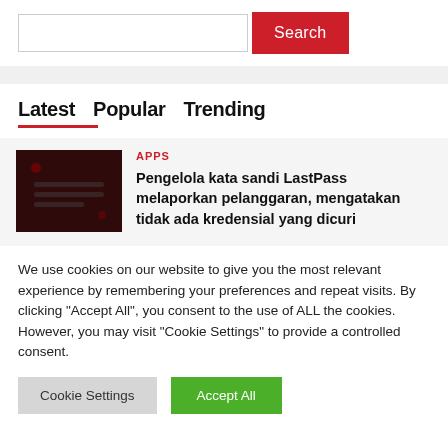[Figure (screenshot): Search input box with red Search button]
Latest  Popular  Trending
[Figure (photo): Dark thumbnail image related to LastPass security breach article]
APPS
Pengelola kata sandi LastPass melaporkan pelanggaran, mengatakan tidak ada kredensial yang dicuri
We use cookies on our website to give you the most relevant experience by remembering your preferences and repeat visits. By clicking "Accept All", you consent to the use of ALL the cookies. However, you may visit "Cookie Settings" to provide a controlled consent.